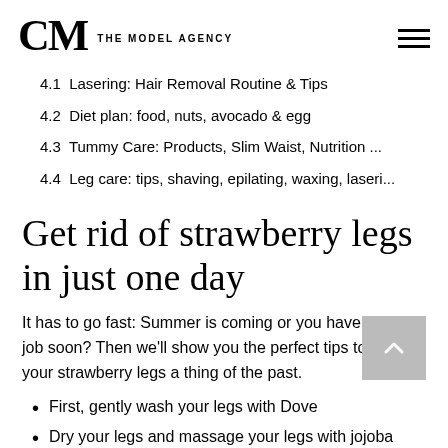CM THE MODEL AGENCY
4.1  Lasering: Hair Removal Routine & Tips
4.2  Diet plan: food, nuts, avocado & egg
4.3  Tummy Care: Products, Slim Waist, Nutrition ...
4.4  Leg care: tips, shaving, epilating, waxing, laseri...
Get rid of strawberry legs in just one day
It has to go fast: Summer is coming or you have a model job soon? Then we'll show you the perfect tips to make your strawberry legs a thing of the past.
First, gently wash your legs with Dove
Dry your legs and massage your legs with jojobo